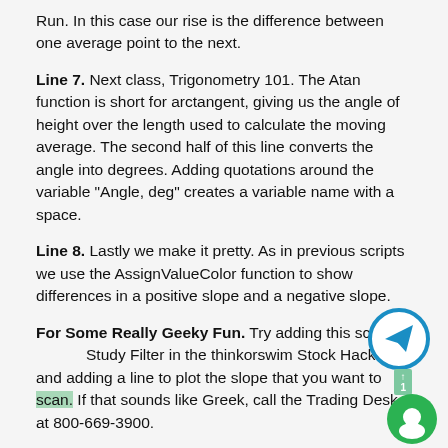Run. In this case our rise is the difference between one average point to the next.
Line 7. Next class, Trigonometry 101. The Atan function is short for arctangent, giving us the angle of height over the length used to calculate the moving average. The second half of this line converts the angle into degrees. Adding quotations around the variable "Angle, deg" creates a variable name with a space.
Line 8. Lastly we make it pretty. As in previous scripts we use the AssignValueColor function to show differences in a positive slope and a negative slope.
For Some Really Geeky Fun. Try adding this script as a Study Filter in the thinkorswim Stock Hacker and adding a line to plot the slope that you want to scan. If that sounds like Greek, call the Trading Desk at 800-669-3900.
[Figure (illustration): Telegram share button icon (circular, blue border, paper plane arrow)]
[Figure (illustration): Green circular chat/support button icon]